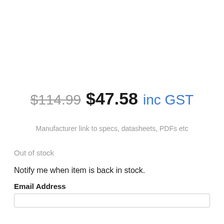$114.99  $47.58 inc GST
Manufacturer link to specs, datasheets, PDFs etc
Out of stock
Notify me when item is back in stock.
Email Address